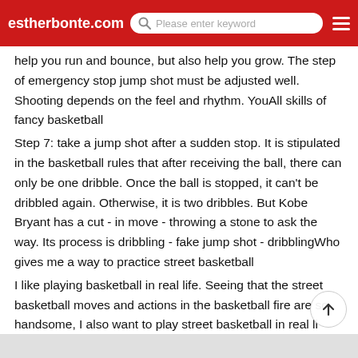estherbonte.com  Please enter keyword
help you run and bounce, but also help you grow. The step of emergency stop jump shot must be adjusted well. Shooting depends on the feel and rhythm. YouAll skills of fancy basketball
Step 7: take a jump shot after a sudden stop. It is stipulated in the basketball rules that after receiving the ball, there can only be one dribble. Once the ball is stopped, it can't be dribbled again. Otherwise, it is two dribbles. But Kobe Bryant has a cut - in move - throwing a stone to ask the way. Its process is dribbling - fake jump shot - dribblingWho gives me a way to practice street basketball
I like playing basketball in real life. Seeing that the street basketball moves and actions in the basketball fire are so handsome, I also want to play street basketball in real li...